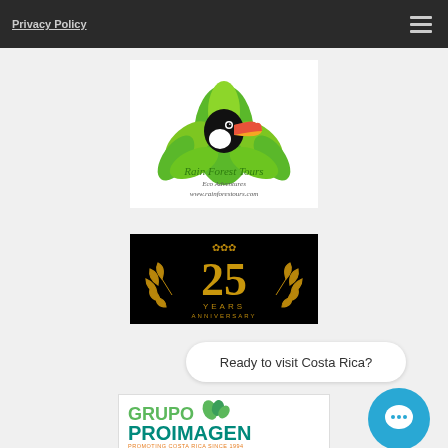Privacy Policy
[Figure (logo): Rain Forest Tours Eco Adventures logo with toucan bird and green lotus leaves. Text: Rain Forest Tours, Eco Adventures, www.rainforestours.com]
[Figure (logo): 25 Years Anniversary badge in gold on black background with laurel wreath]
Ready to visit Costa Rica?
[Figure (logo): Grupo Proimagen logo in green and teal. Text: GRUPO PROIMAGEN, PROMOTING COSTA RICA SINCE 1994]
[Figure (illustration): Teal circular chat/message icon button]